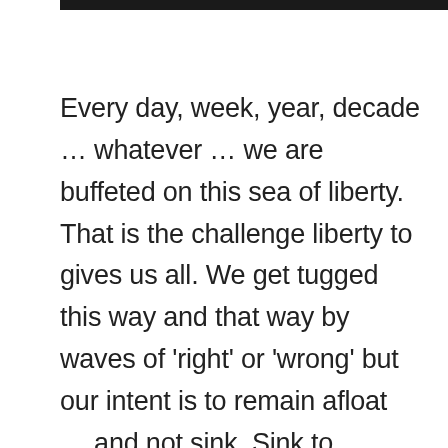Every day, week, year, decade … whatever … we are buffeted on this sea of liberty. That is the challenge liberty to gives us all. We get tugged this way and that way by waves of 'right' or 'wrong' but our intent is to remain afloat … and not sink. Sink to tyranny or fear or … well … lack of liberty.